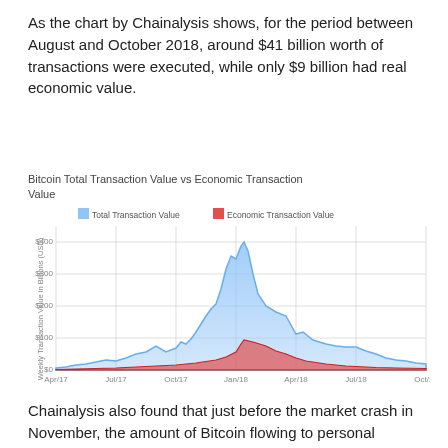As the chart by Chainalysis shows, for the period between August and October 2018, around $41 billion worth of transactions were executed, while only $9 billion had real economic value.
[Figure (area-chart): Bitcoin Total Transaction Value vs Economic Transaction Value]
Chainalysis also found that just before the market crash in November, the amount of Bitcoin flowing to personal wallets was on the rise, according to Bloomberg. By Nov 1, the amount surpassed $400